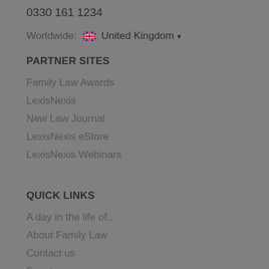0330 161 1234
Worldwide: 🇬🇧 United Kingdom ▾
PARTNER SITES
Family Law Awards
LexisNexis
New Law Journal
LexisNexis eStore
LexisNexis Webinars
QUICK LINKS
A day in the life of...
About Family Law
Contact us
Events
TOP PRODUCTS